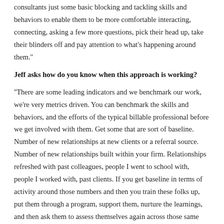consultants just some basic blocking and tackling skills and behaviors to enable them to be more comfortable interacting, connecting, asking a few more questions, pick their head up, take their blinders off and pay attention to what's happening around them.''
Jeff asks how do you know when this approach is working?
''There are some leading indicators and we benchmark our work, we're very metrics driven. You can benchmark the skills and behaviors, and the efforts of the typical billable professional before we get involved with them. Get some that are sort of baseline. Number of new relationships at new clients or a referral source. Number of new relationships built within your firm. Relationships refreshed with past colleagues, people I went to school with, people I worked with, past clients. If you get baseline in terms of activity around those numbers and then you train these folks up, put them through a program, support them, nurture the learnings, and then ask them to assess themselves again across those same metrics.''